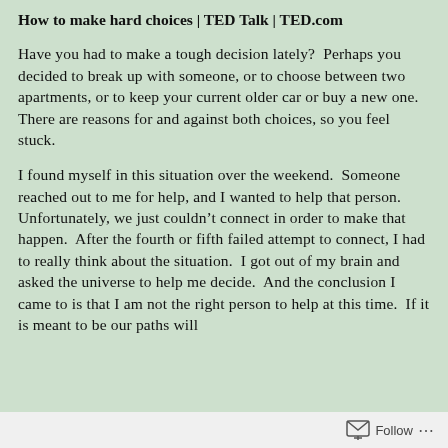How to make hard choices | TED Talk | TED.com
Have you had to make a tough decision lately? Perhaps you decided to break up with someone, or to choose between two apartments, or to keep your current older car or buy a new one. There are reasons for and against both choices, so you feel stuck.
I found myself in this situation over the weekend. Someone reached out to me for help, and I wanted to help that person. Unfortunately, we just couldn’t connect in order to make that happen. After the fourth or fifth failed attempt to connect, I had to really think about the situation. I got out of my brain and asked the universe to help me decide. And the conclusion I came to is that I am not the right person to help at this time. If it is meant to be our paths will
Follow ...